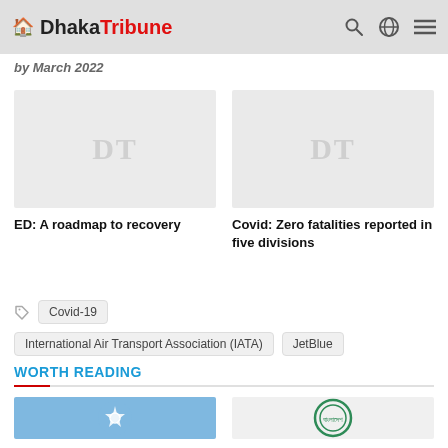Dhaka Tribune
by March 2022
[Figure (photo): Placeholder image with DT watermark for article: ED: A roadmap to recovery]
ED: A roadmap to recovery
[Figure (photo): Placeholder image with DT watermark for article: Covid: Zero fatalities reported in five divisions]
Covid: Zero fatalities reported in five divisions
Covid-19
International Air Transport Association (IATA)
JetBlue
WORTH READING
[Figure (photo): Bottom left article image with star/airline logo]
[Figure (photo): Bottom right article image with circular green seal/logo]